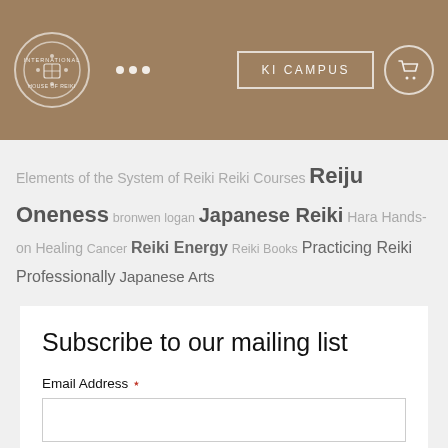International House of Reiki — KI Campus navigation header with cart icon
Elements of the System of Reiki  Reiki Courses  Reiju  Oneness  bronwen logan  Japanese Reiki  Hara  Hands-on Healing  Cancer  Reiki Energy  Reiki Books  Practicing Reiki Professionally  Japanese Arts
Subscribe to our mailing list
Email Address *
First Name *